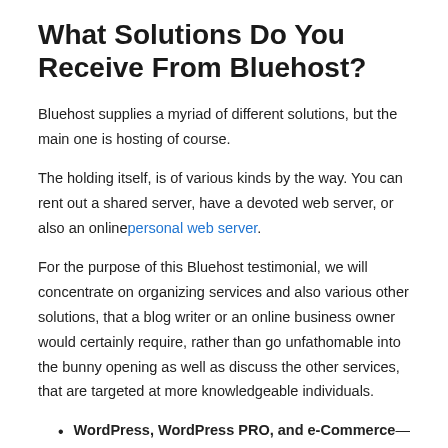What Solutions Do You Receive From Bluehost?
Bluehost supplies a myriad of different solutions, but the main one is hosting of course.
The holding itself, is of various kinds by the way. You can rent out a shared server, have a devoted web server, or also an online personal web server.
For the purpose of this Bluehost testimonial, we will concentrate on organizing services and also various other solutions, that a blog writer or an online business owner would certainly require, rather than go unfathomable into the bunny opening as well as discuss the other services, that are targeted at more knowledgeable individuals.
WordPress, WordPress PRO, and e-Commerce— these